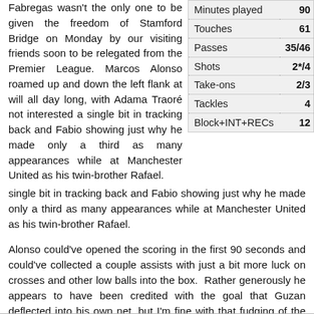Fabregas wasn't the only one to be given the freedom of Stamford Bridge on Monday by our visiting friends soon to be relegated from the Premier League. Marcos Alonso roamed up and down the left flank at will all day long, with Adama Traoré not interested a single bit in tracking back and Fabio showing just why he made only a third as many appearances while at Manchester United as his twin-brother Rafael.
| Stat | Value |
| --- | --- |
| Minutes played | 90 |
| Touches | 61 |
| Passes | 35/46 |
| Shots | 2*/4 |
| Take-ons | 2/3 |
| Tackles | 4 |
| Block+INT+RECs | 12 |
Alonso could've opened the scoring in the first 90 seconds and could've collected a couple assists with just a bit more luck on crosses and other low balls into the box. Rather generously he appears to have been credited with the goal that Guzan deflected into his own net, but I'm fine with that fudging of the rules.